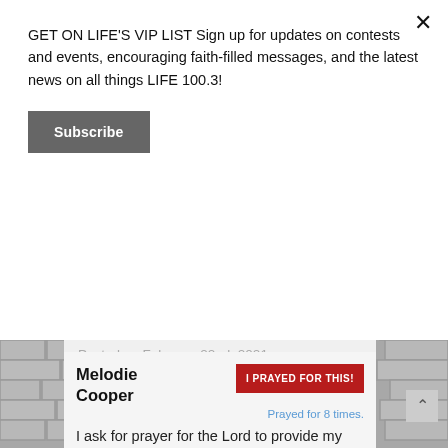GET ON LIFE'S VIP LIST Sign up for updates on contests and events, encouraging faith-filled messages, and the latest news on all things LIFE 100.3!
Subscribe
marriage and family restoration. Currently separated for over eighteen months.
Posted on February 22nd, 2021
Melodie Cooper
I PRAYED FOR THIS!
Prayed for 8 times.
I ask for prayer for the Lord to provide my mom and I a house or